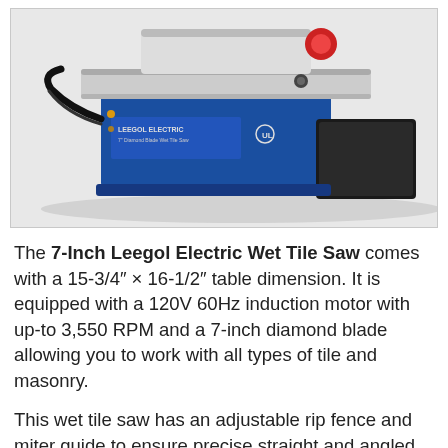[Figure (photo): Photo of the 7-Inch Leegol Electric Wet Tile Saw, a blue and silver tile cutting machine with a black water tray on the right side, shown on a white background with a gray border.]
The 7-Inch Leegol Electric Wet Tile Saw comes with a 15-3/4″ × 16-1/2″ table dimension. It is equipped with a 120V 60Hz induction motor with up-to 3,550 RPM and a 7-inch diamond blade allowing you to work with all types of tile and masonry.
This wet tile saw has an adjustable rip fence and miter guide to ensure precise straight and angled cuts. It